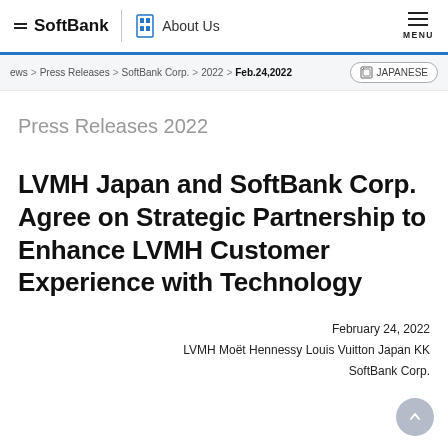SoftBank | About Us | MENU
News > Press Releases > SoftBank Corp. > 2022 > Feb.24,2022 | JAPANESE
Press Releases 2022
LVMH Japan and SoftBank Corp. Agree on Strategic Partnership to Enhance LVMH Customer Experience with Technology
February 24, 2022
LVMH Moët Hennessy Louis Vuitton Japan KK
SoftBank Corp.